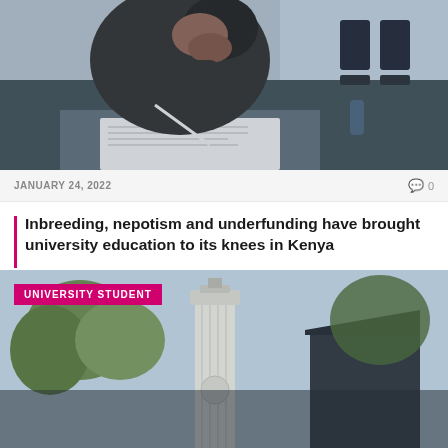[Figure (photo): Person studying/writing at a desk in a classroom, leaning on hand with pen in hand, blue chairs visible in background]
JANUARY 24, 2022
0
Inbreeding, nepotism and underfunding have brought university education to its knees in Kenya
That university education in Kenya is in crisis is not in question. We can bury…
[Figure (photo): University campus building with a white tower/column structure visible among trees with a blue sky background, tagged UNIVERSITY STUDENT]